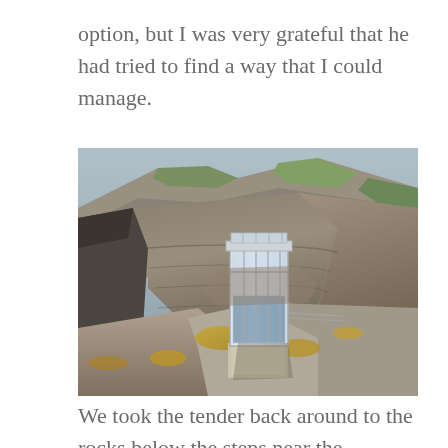option, but I was very grateful that he had tried to find a way that I could manage.
[Figure (photo): A small glass-and-metal elevator or lift structure built into rocky coastal cliffs. The rocks are layered and rugged with patches of yellow lichen and some green grass/moss on upper ledges. The lift structure is white/silver with large glass panels, set against the cliff face.]
We took the tender back around to the rocks below the steps near the lighthouse.